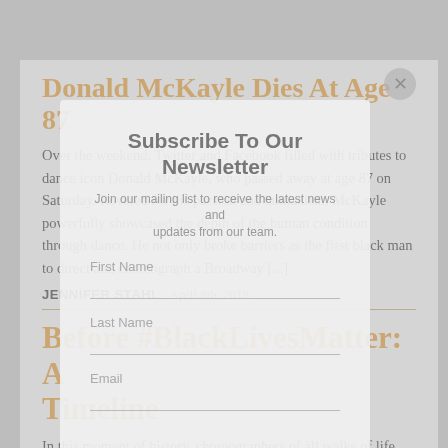Donald McKayle Dies At Age 87
Over the weekend, Twitter and Facebook filled with tributes to dance icon Donald McKayle, who passed away at age 87 on Saturday. Revered for his passion and humanism, McKayle powerfully showcased the depth of the human condition through dance. He not only broke barriers as the first black man to direct and choreograph a Broadway [...]
JENNIFER STAHL   April 8th, 2018
Before #BlackLivesMatter: A Timeline
In this moment of history, choreographers of all walks of life
[Figure (screenshot): Subscribe To Our Newsletter modal overlay with fields for First Name, Last Name, and Email, and a close button (×) in the top right corner.]